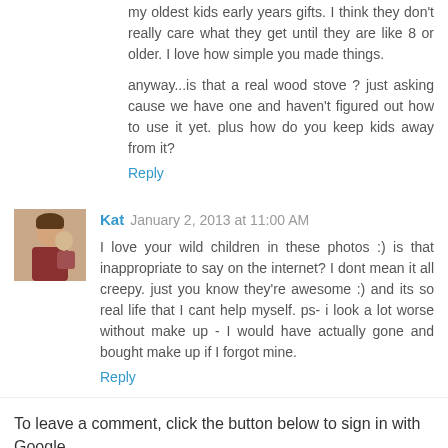my oldest kids early years gifts. I think they don't really care what they get until they are like 8 or older. I love how simple you made things.
anyway...is that a real wood stove ? just asking cause we have one and haven't figured out how to use it yet. plus how do you keep kids away from it?
Reply
Kat  January 2, 2013 at 11:00 AM
[Figure (photo): Small avatar photo of Kat with a child]
I love your wild children in these photos :) is that inappropriate to say on the internet? I dont mean it all creepy. just you know they're awesome :) and its so real life that I cant help myself. ps- i look a lot worse without make up - I would have actually gone and bought make up if I forgot mine.
Reply
To leave a comment, click the button below to sign in with Google.